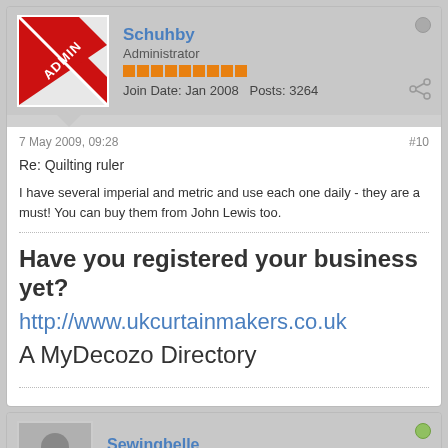Schuhby
Administrator
Join Date: Jan 2008   Posts: 3264
7 May 2009, 09:28
#10
Re: Quilting ruler
I have several imperial and metric and use each one daily - they are a must! You can buy them from John Lewis too.
Have you registered your business yet?
http://www.ukcurtainmakers.co.uk
A MyDecozo Directory
Sewingbelle
Two Needles